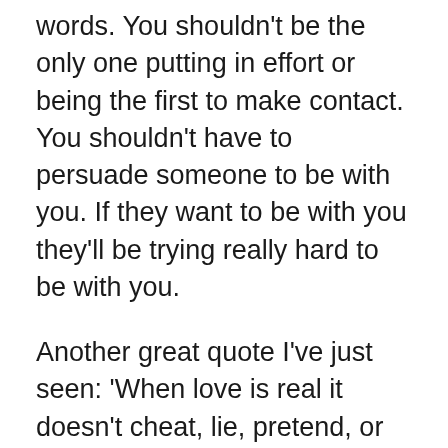words. You shouldn't be the only one putting in effort or being the first to make contact. You shouldn't have to persuade someone to be with you. If they want to be with you they'll be trying really hard to be with you.
Another great quote I've just seen: 'When love is real it doesn't cheat, lie, pretend, or make you left wanting.'
I think the trouble is that we're all a bit